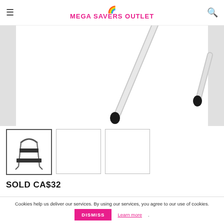≡ MEGA SAVERS OUTLET 🔍
[Figure (photo): Close-up photo of step ladder legs/feet on white background — black rubber feet of a metal step stool]
[Figure (photo): Thumbnail image 1: Small step stool/ladder with two steps and chrome frame]
[Figure (photo): Thumbnail image 2: blank/white]
[Figure (photo): Thumbnail image 3: blank/white]
SOLD CA$32
⊙ TIMED AUCTION
THURSDAY NIGHT MAY 12TH SALE !
CATEGORY
Everything Else
DESCRIPTION
Cookies help us deliver our services. By using our services, you agree to our use of cookies.